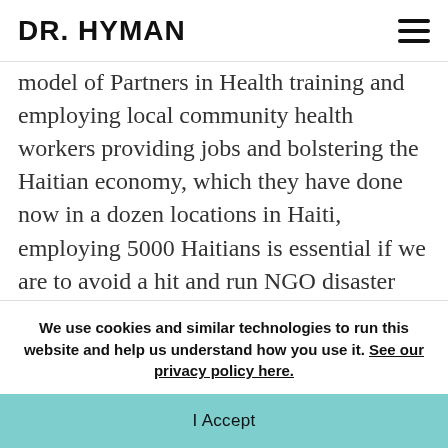DR. HYMAN
model of Partners in Health training and employing local community health workers providing jobs and bolstering the Haitian economy, which they have done now in a dozen locations in Haiti, employing 5000 Haitians is essential if we are to avoid a hit and run NGO disaster relief that will only leave another disaster. Last night we scrambled to find a way to take over the Israeli field hospital and care for the 150 patients still there when they leave on Wednesday.
We use cookies and similar technologies to run this website and help us understand how you use it. See our privacy policy here.
I Accept